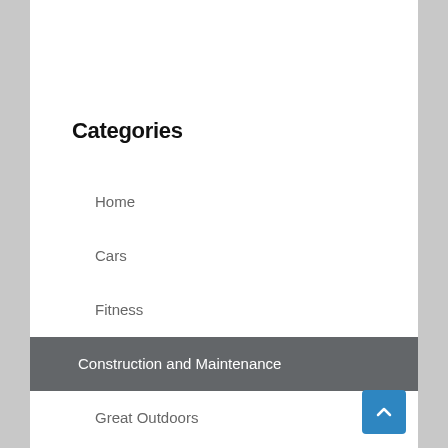Categories
Home
Cars
Fitness
Construction and Maintenance
Great Outdoors
Vacation Spots